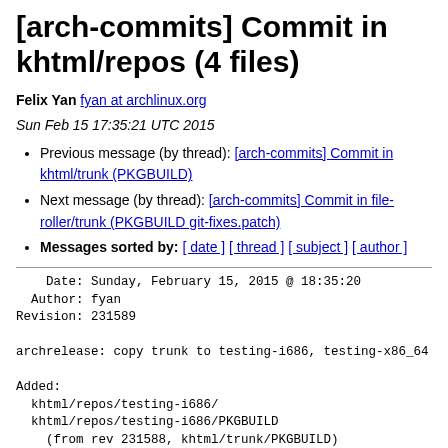[arch-commits] Commit in khtml/repos (4 files)
Felix Yan fyan at archlinux.org
Sun Feb 15 17:35:21 UTC 2015
Previous message (by thread): [arch-commits] Commit in khtml/trunk (PKGBUILD)
Next message (by thread): [arch-commits] Commit in file-roller/trunk (PKGBUILD git-fixes.patch)
Messages sorted by: [ date ] [ thread ] [ subject ] [ author ]
Date: Sunday, February 15, 2015 @ 18:35:20
  Author: fyan
Revision: 231589

archrelease: copy trunk to testing-i686, testing-x86_64

Added:
  khtml/repos/testing-i686/
  khtml/repos/testing-i686/PKGBUILD
    (from rev 231588, khtml/trunk/PKGBUILD)
  khtml/repos/testing-x86_64/
  khtml/repos/testing-x86_64/PKGBUILD